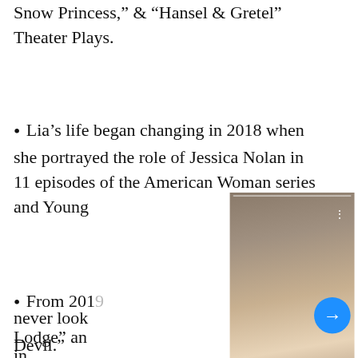Snow Princess," & "Hansel & Gretel" Theater Plays.
Lia’s life began changing in 2018 when she portrayed the role of Jessica Nolan in 11 episodes of the American Woman series and Young… Devil.”
[Figure (photo): Photo of a young woman with dark hair wearing a white off-shoulder top, with a video player overlay showing dots menu and a forward arrow button]
Maia Reficco Wiki, Boyfriend, Age,Height, Parents, Net Worth & More - Celebsweek- Biogr…...
From 2019… never look… Lodge” an… e in
[Figure (infographic): Advertisement for Lidl store in Ashburn showing store hours OPEN 8AM-9PM and address 44175 Ashbrook Marketplace Plaza, with navigation arrow icon]